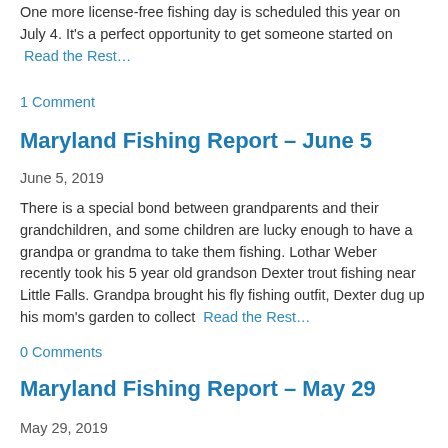One more license-free fishing day is scheduled this year on July 4. It's a perfect opportunity to get someone started on  Read the Rest…
1 Comment
Maryland Fishing Report – June 5
June 5, 2019
There is a special bond between grandparents and their grandchildren, and some children are lucky enough to have a grandpa or grandma to take them fishing. Lothar Weber recently took his 5 year old grandson Dexter trout fishing near Little Falls. Grandpa brought his fly fishing outfit, Dexter dug up his mom's garden to collect  Read the Rest…
0 Comments
Maryland Fishing Report – May 29
May 29, 2019